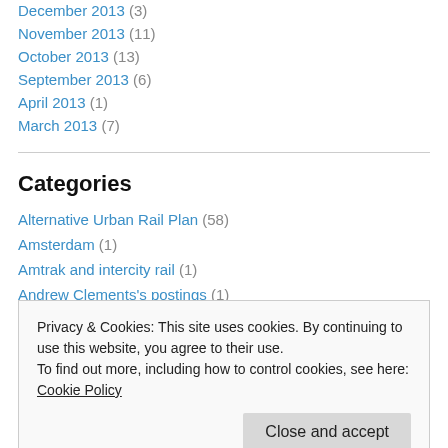December 2013 (3)
November 2013 (11)
October 2013 (13)
September 2013 (6)
April 2013 (1)
March 2013 (7)
Categories
Alternative Urban Rail Plan (58)
Amsterdam (1)
Amtrak and intercity rail (1)
Andrew Clements's postings (1)
Privacy & Cookies: This site uses cookies. By continuing to use this website, you agree to their use.
To find out more, including how to control cookies, see here: Cookie Policy
Close and accept
Austin light rail issues (44)